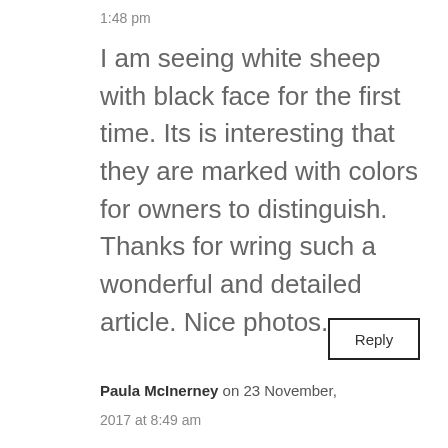1:48 pm
I am seeing white sheep with black face for the first time. Its is interesting that they are marked with colors for owners to distinguish. Thanks for wring such a wonderful and detailed article. Nice photos.
Reply
Paula McInerney on 23 November,
2017 at 8:49 am